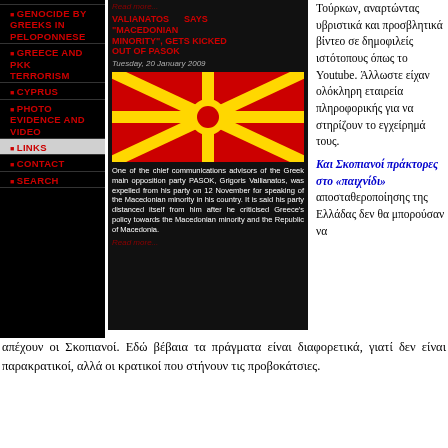Genocide By Greeks In Peloponnese
Greece And PKK Terrorism
Cyprus
Photo Evidence And Video
Links
Contact
Search
[Figure (screenshot): Screenshot of a news website with article titled 'VALIANATOS SAYS "MACEDONIAN MINORITY", GETS KICKED OUT OF PASOK', dated Tuesday, 20 January 2009, showing a Macedonian flag image and article text about Grigoris Vallianatos being expelled from PASOK for speaking of Macedonian minority.]
Τούρκων, αναρτώντας υβριστικά και προσβλητικά βίντεο σε δημοφιλείς ιστότοπους όπως το Youtube. Άλλωστε είχαν ολόκληρη εταιρεία πληροφορικής για να στηρίζουν το εγχείρημά τους.
Και Σκοπιανοί πράκτορες στο «παιχνίδι»
αποσταθεροποίησης της Ελλάδας δεν θα μπορούσαν να απέχουν οι Σκοπιανοί. Εδώ βέβαια τα πράγματα είναι διαφορετικά, γιατί δεν είναι παρακρατικοί, αλλά οι κρατικοί που στήνουν τις προβοκάτσιες.